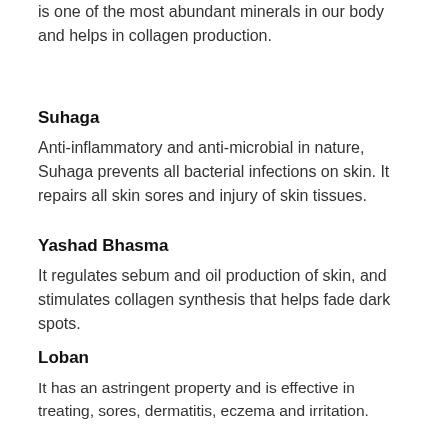is one of the most abundant minerals in our body and helps in collagen production.
Suhaga
Anti-inflammatory and anti-microbial in nature, Suhaga prevents all bacterial infections on skin. It repairs all skin sores and injury of skin tissues.
Yashad Bhasma
It regulates sebum and oil production of skin, and stimulates collagen synthesis that helps fade dark spots.
Loban
It has an astringent property and is effective in treating, sores, dermatitis, eczema and irritation.
Pudina Sattva
This cools and calms the irritated skin, eliminate